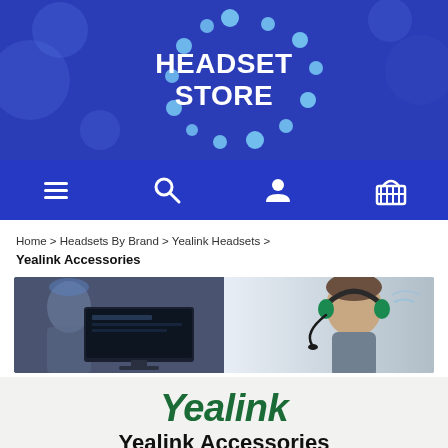[Figure (logo): Headset Store logo banner with blue background and circular bokeh dot pattern, white bold text reading HEADSET STORE]
[Figure (infographic): Dark blue navigation bar with four white icons: hamburger menu, search magnifier, user/person, and shopping basket]
Home > Headsets By Brand > Yealink Headsets > Yealink Accessories
[Figure (photo): Banner photo showing two scenes: left side a person at a computer workstation with a monitor, right side a young man wearing a green headset looking focused]
[Figure (logo): Yealink brand logo in dark green italic bold font on light gray background]
Yealink Accessories